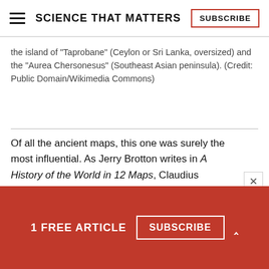SCIENCE THAT MATTERS | SUBSCRIBE
the island of "Taprobane" (Ceylon or Sri Lanka, oversized) and the "Aurea Chersonesus" (Southeast Asian peninsula). (Credit: Public Domain/Wikimedia Commons)
Of all the ancient maps, this one was surely the most influential. As Jerry Brotton writes in A History of the World in 12 Maps, Claudius Ptolemy's
1 FREE ARTICLE SUBSCRIBE